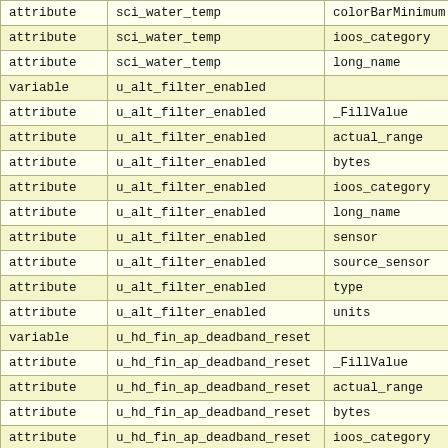| type | variable/attribute name | attribute |
| --- | --- | --- |
| attribute | sci_water_temp | colorBarMinimum |
| attribute | sci_water_temp | ioos_category |
| attribute | sci_water_temp | long_name |
| variable | u_alt_filter_enabled |  |
| attribute | u_alt_filter_enabled | _FillValue |
| attribute | u_alt_filter_enabled | actual_range |
| attribute | u_alt_filter_enabled | bytes |
| attribute | u_alt_filter_enabled | ioos_category |
| attribute | u_alt_filter_enabled | long_name |
| attribute | u_alt_filter_enabled | sensor |
| attribute | u_alt_filter_enabled | source_sensor |
| attribute | u_alt_filter_enabled | type |
| attribute | u_alt_filter_enabled | units |
| variable | u_hd_fin_ap_deadband_reset |  |
| attribute | u_hd_fin_ap_deadband_reset | _FillValue |
| attribute | u_hd_fin_ap_deadband_reset | actual_range |
| attribute | u_hd_fin_ap_deadband_reset | bytes |
| attribute | u_hd_fin_ap_deadband_reset | ioos_category |
| attribute | u_hd_fin_ap_deadband_reset | long_name |
| attribute | u_hd_fin_ap_deadband_reset | sensor |